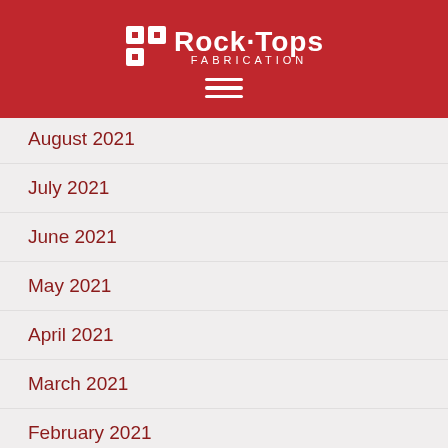[Figure (logo): Rock Tops Fabrication logo with hamburger menu on red background]
August 2021
July 2021
June 2021
May 2021
April 2021
March 2021
February 2021
January 2021
December 2020
November 2020
October 2020